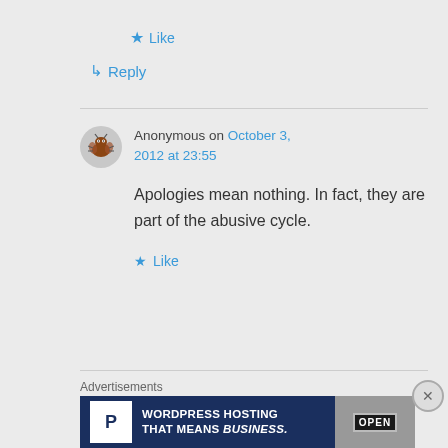★ Like
↳ Reply
Anonymous on October 3, 2012 at 23:55
Apologies mean nothing. In fact, they are part of the abusive cycle.
★ Like
Advertisements
[Figure (screenshot): WordPress Hosting advertisement banner: dark navy background with 'P' logo, text 'WORDPRESS HOSTING THAT MEANS BUSINESS.' and an OPEN sign image on the right]